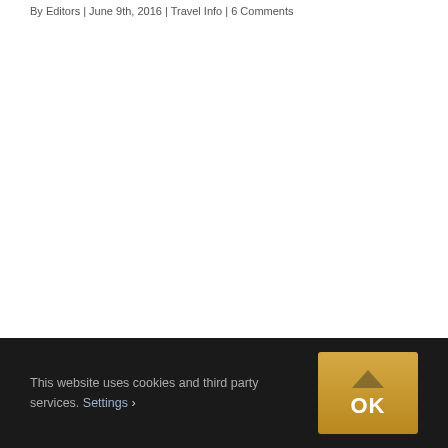By Editors | June 9th, 2016 | Travel Info | 6 Comments
[Figure (other): Empty white content area (advertisement or image placeholder)]
One of the best ways to travel in India is to take a
This website uses cookies and third party services. Settings